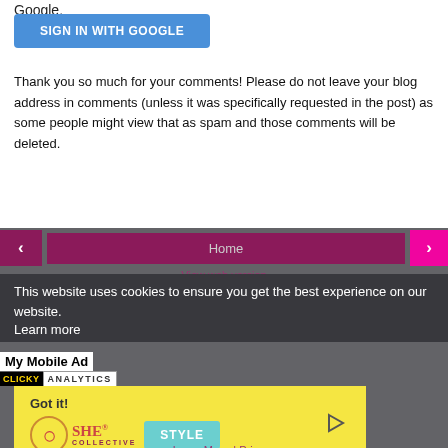Google.
[Figure (screenshot): Blue 'SIGN IN WITH GOOGLE' button]
Thank you so much for your comments! Please do not leave your blog address in comments (unless it was specifically requested in the post) as some people might view that as spam and those comments will be deleted.
[Figure (screenshot): Website footer area with navigation buttons (< Home >), cookie consent overlay reading 'This website uses cookies to ensure you get the best experience on our website. Learn more', My Mobile Ad label, Clicky Analytics badge, Got it! yellow button, SHE Collective and STYLE logos, Learn More | Privacy links, View web version link]